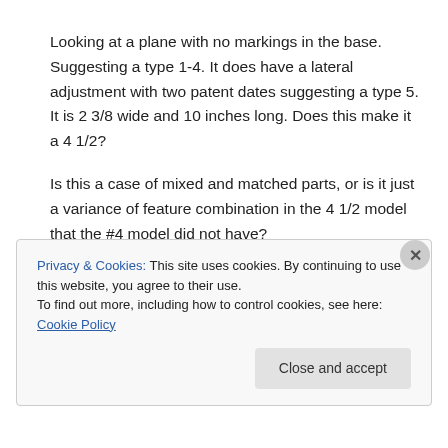Looking at a plane with no markings in the base. Suggesting a type 1-4. It does have a lateral adjustment with two patent dates suggesting a type 5. It is 2 3/8 wide and 10 inches long. Does this make it a 4 1/2?
Is this a case of mixed and matched parts, or is it just a variance of feature combination in the 4 1/2 model that the #4 model did not have?
Like
Privacy & Cookies: This site uses cookies. By continuing to use this website, you agree to their use.
To find out more, including how to control cookies, see here: Cookie Policy